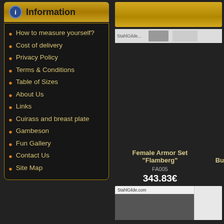Information
How to measure yourself?
Cost of delivery
Privacy Policy
Terms & Conditions
Table of Sizes
About Us
Links
Cuirass and breast plate
Gambeson
Fun Gallery
Contact Us
Site Map
[Figure (screenshot): Product listing showing Female Armor Set Flamberg FA005 at 343.83 euros and partial second product Bu..., with product images]
Female Armor Set "Flamberg"
FA005
343.83€
Bu
StahlGilde.com